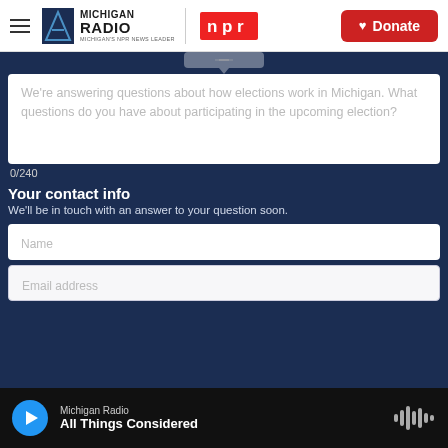Michigan Radio — NPR — Donate
[Figure (screenshot): Michigan Radio NPR logo and Donate button in white header bar]
We're answering questions about how elections work in Michigan. What questions do you have about participating in the upcoming election?
0/240
Your contact info
We'll be in touch with an answer to your question soon.
Name
Email address
Michigan Radio — All Things Considered